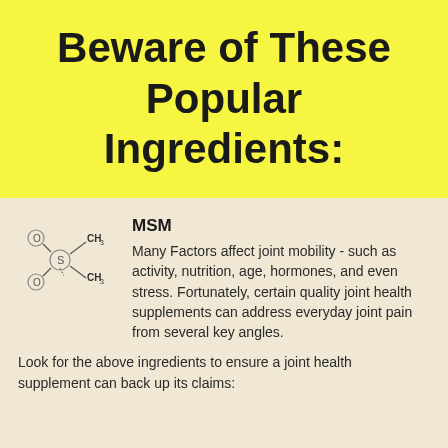Beware of These Popular Ingredients:
[Figure (illustration): Chemical structure diagram of MSM (dimethyl sulfoxide), showing sulfur atom with oxygen, CH3 groups attached]
MSM
Many Factors affect joint mobility - such as activity, nutrition, age, hormones, and even stress. Fortunately, certain quality joint health supplements can address everyday joint pain from several key angles.
Look for the above ingredients to ensure a joint health supplement can back up its claims: